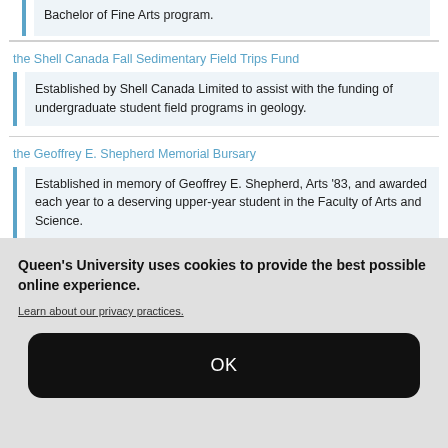Bachelor of Fine Arts program.
the Shell Canada Fall Sedimentary Field Trips Fund
Established by Shell Canada Limited to assist with the funding of undergraduate student field programs in geology.
the Geoffrey E. Shepherd Memorial Bursary
Established in memory of Geoffrey E. Shepherd, Arts '83, and awarded each year to a deserving upper-year student in the Faculty of Arts and Science.
Queen's University uses cookies to provide the best possible online experience.
Learn about our privacy practices.
OK